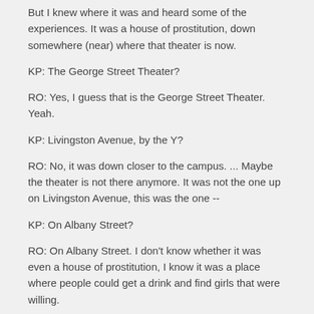But I knew where it was and heard some of the experiences. It was a house of prostitution, down somewhere (near) where that theater is now.
KP: The George Street Theater?
RO: Yes, I guess that is the George Street Theater. Yeah.
KP: Livingston Avenue, by the Y?
RO: No, it was down closer to the campus. ... Maybe the theater is not there anymore. It was not the one up on Livingston Avenue, this was the one --
KP: On Albany Street?
RO: On Albany Street. I don't know whether it was even a house of prostitution, I know it was a place where people could get a drink and find girls that were willing.
MC: Where was your fraternity house? Was it on frat row?
RO: No, no. There's a big dorm where it used to be. You know where the Chi Phi house is? Well, if you go north toward the river ... it was at the corner of Bishop Place and